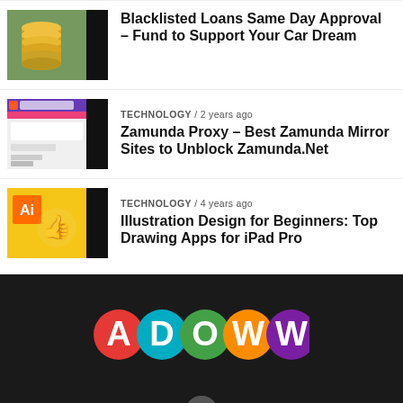[Figure (photo): Stack of coins thumbnail for blacklisted loans article]
Blacklisted Loans Same Day Approval – Fund to Support Your Car Dream
[Figure (screenshot): Website screenshot thumbnail for Zamunda proxy article]
TECHNOLOGY / 2 years ago
Zamunda Proxy – Best Zamunda Mirror Sites to Unblock Zamunda.Net
[Figure (illustration): Adobe Illustrator logo on yellow background thumbnail]
TECHNOLOGY / 4 years ago
Illustration Design for Beginners: Top Drawing Apps for iPad Pro
[Figure (logo): ADOWW logo with colorful circles: red A, teal D, green O, orange W, purple W on dark background]
[Figure (logo): Facebook icon button in dark footer]